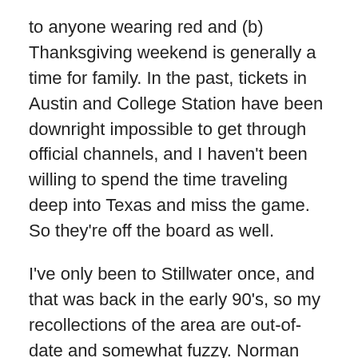to anyone wearing red and (b) Thanksgiving weekend is generally a time for family.  In the past, tickets in Austin and College Station have been downright impossible to get through official channels, and I haven't been willing to spend the time traveling deep into Texas and miss the game.  So they're off the board as well.
I've only been to Stillwater once, and that was back in the early 90's, so my recollections of the area are out-of-date and somewhat fuzzy.  Norman was part of an organized trip in 1996 where I received complimentary transportation to the stadium, so I didn't get a lay of the land.  So I really won't be able to review them either.  For all these other stadiums, I'm reviewing the aesthetics and the availability of good tailgating areas.  You can tailgate just about anywhere, it's just easier